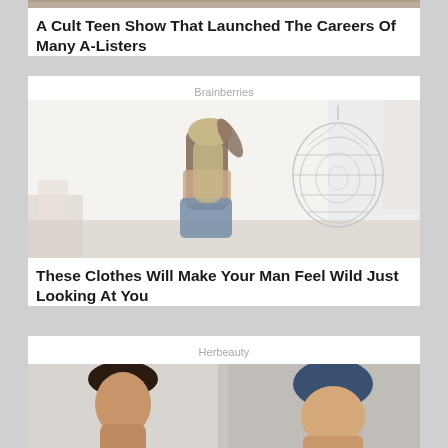[Figure (photo): Partial top image cropped at top of page]
A Cult Teen Show That Launched The Careers Of Many A-Listers
Brainberries
[Figure (photo): Woman in brown crop top and denim shorts posing in a white room with a hanging egg chair]
These Clothes Will Make Your Man Feel Wild Just Looking At You
Herbeauty
[Figure (photo): Partial bottom image showing woman and child partially cropped]